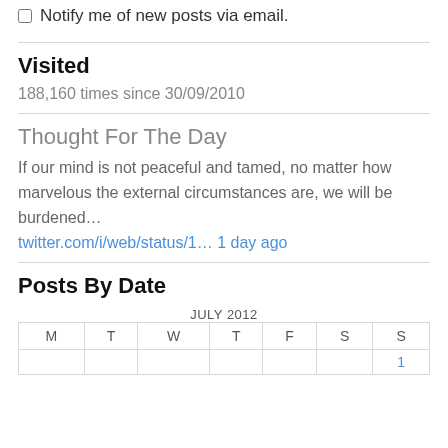Notify me of new posts via email.
Visited
188,160 times since 30/09/2010
Thought For The Day
If our mind is not peaceful and tamed, no matter how marvelous the external circumstances are, we will be burdened…
twitter.com/i/web/status/1… 1 day ago
Posts By Date
| M | T | W | T | F | S | S |
| --- | --- | --- | --- | --- | --- | --- |
|  |  |  |  |  |  | 1 |